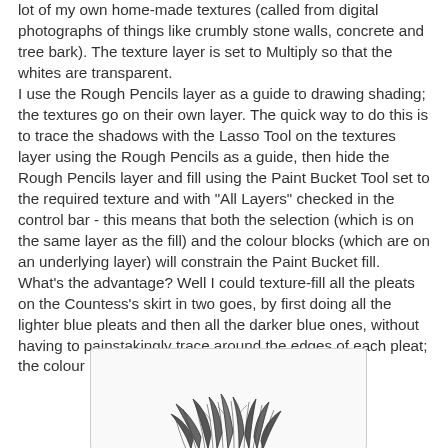lot of my own home-made textures (called from digital photographs of things like crumbly stone walls, concrete and tree bark). The texture layer is set to Multiply so that the whites are transparent. I use the Rough Pencils layer as a guide to drawing shading; the textures go on their own layer. The quick way to do this is to trace the shadows with the Lasso Tool on the textures layer using the Rough Pencils as a guide, then hide the Rough Pencils layer and fill using the Paint Bucket Tool set to the required texture and with "All Layers" checked in the control bar - this means that both the selection (which is on the same layer as the fill) and the colour blocks (which are on an underlying layer) will constrain the Paint Bucket fill. What's the advantage? Well I could texture-fill all the pleats on the Countess's skirt in two goes, by first doing all the lighter blue pleats and then all the darker blue ones, without having to painstakingly trace around the edges of each pleat; the colour blocks handled that for me.
[Figure (illustration): A black and white pencil sketch illustration showing what appears to be a figure or character with feathery or winged elements, partially visible at the bottom of the page within a rounded-rectangle bordered frame.]